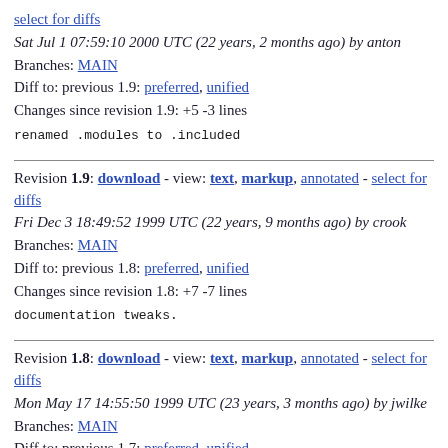select for diffs
Sat Jul 1 07:59:10 2000 UTC (22 years, 2 months ago) by anton
Branches: MAIN
Diff to: previous 1.9: preferred, unified
Changes since revision 1.9: +5 -3 lines
renamed .modules to .included
Revision 1.9: download - view: text, markup, annotated - select for diffs
Fri Dec 3 18:49:52 1999 UTC (22 years, 9 months ago) by crook
Branches: MAIN
Diff to: previous 1.8: preferred, unified
Changes since revision 1.8: +7 -7 lines
documentation tweaks.
Revision 1.8: download - view: text, markup, annotated - select for diffs
Mon May 17 14:55:50 1999 UTC (23 years, 3 months ago) by jwilke
Branches: MAIN
Diff to: previous 1.7: preferred, unified
Changes since revision 1.7: +5 -2 lines
Bugfix.